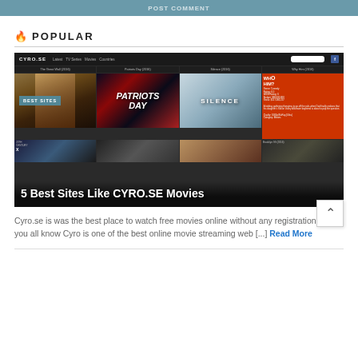POST COMMENT
POPULAR
[Figure (screenshot): Screenshot of CYRO.SE movies website showing movie posters for The Great Wall (2016), Patriots Day (2016), Silence (2016), and Why Him (2016), with a 'BEST SITES' badge and overlay title '5 Best Sites Like CYRO.SE Movies']
Cyro.se is was the best place to watch free movies online without any registration. As you all know Cyro is one of the best online movie streaming web [...] Read More